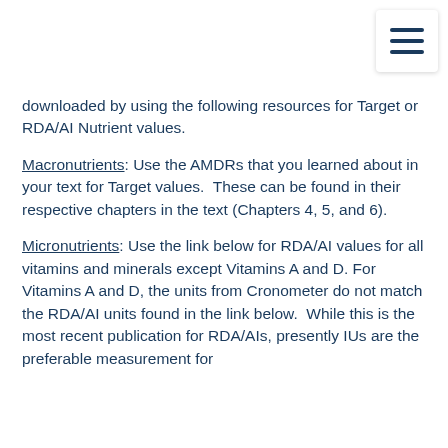[Figure (other): Hamburger menu icon (three horizontal lines) in a white rounded box with shadow, top-right corner]
downloaded by using the following resources for Target or RDA/AI Nutrient values.
Macronutrients: Use the AMDRs that you learned about in your text for Target values.  These can be found in their respective chapters in the text (Chapters 4, 5, and 6).
Micronutrients: Use the link below for RDA/AI values for all vitamins and minerals except Vitamins A and D. For Vitamins A and D, the units from Cronometer do not match the RDA/AI units found in the link below.  While this is the most recent publication for RDA/AIs, presently IUs are the preferable measurement for